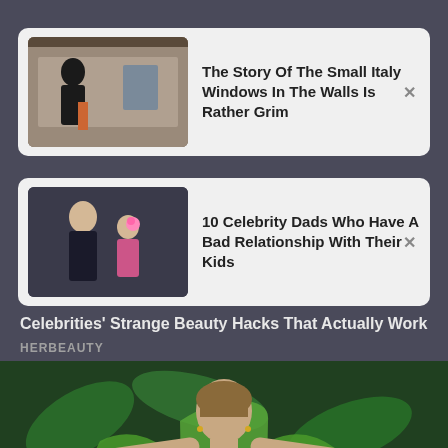[Figure (screenshot): Screenshot of a news/article feed app showing two recommendation cards and a promotional banner over a large celebrity photo]
The Story Of The Small Italy Windows In The Walls Is Rather Grim
10 Celebrity Dads Who Have A Bad Relationship With Their Kids
Celebrities' Strange Beauty Hacks That Actually Work
HERBEAUTY
[Figure (photo): Celebrity woman in a green tropical print dress with arms outstretched]